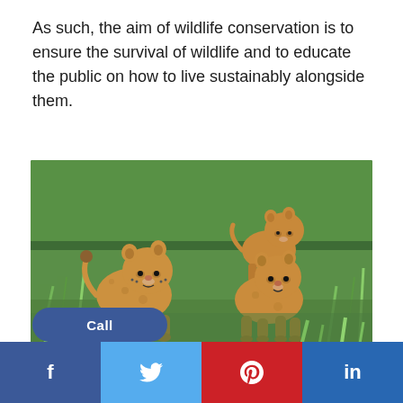As such, the aim of wildlife conservation is to ensure the survival of wildlife and to educate the public on how to live sustainably alongside them.
[Figure (photo): Three lion cubs standing and walking in green grass, photographed in natural habitat.]
Call